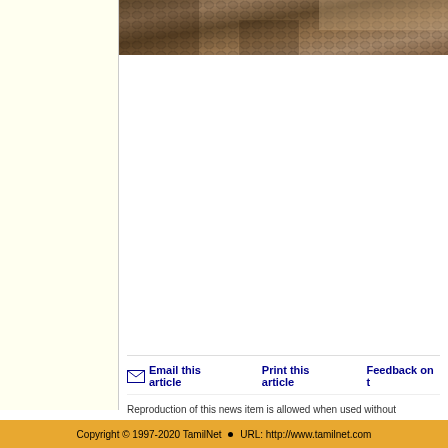[Figure (photo): Partial view of a snake or reptile with scaled texture, brownish tones, cropped at top of page]
Email this article   Print this article   Feedback on t...
Reproduction of this news item is allowed when used without any alterations to the contents and the source, TamilNet, is mentioned
News | Features | Opinion | Palaka'ni | Photo Features | Th... Web feeds | Feedback | Home | About us
Copyright © 1997-2020 TamilNet ▪ URL: http://www.tamilnet.com